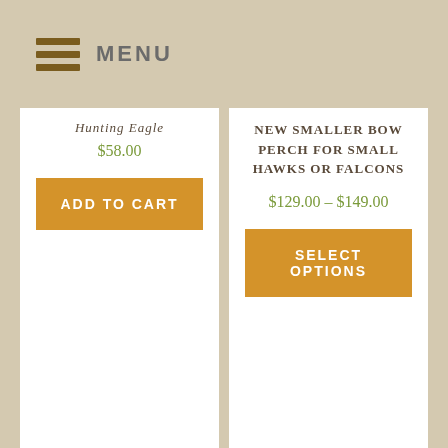MENU
Hunting Eagle
$58.00
ADD TO CART
NEW SMALLER BOW PERCH FOR SMALL HAWKS OR FALCONS
$129.00 – $149.00
SELECT OPTIONS